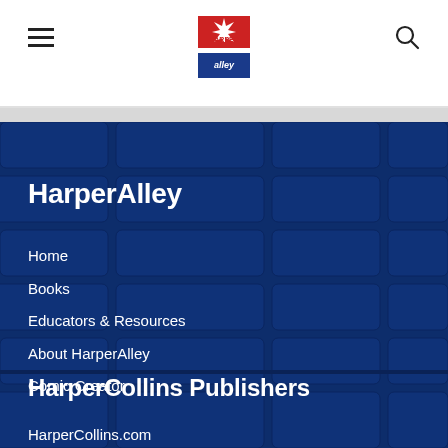HarperAlley navigation bar with hamburger menu, logo, and search icon
[Figure (logo): Harper Alley logo — red/white/blue star-burst badge with 'HARPER alley' text]
HarperAlley
Home
Books
Educators & Resources
About HarperAlley
Comic Creator
HarperCollins Publishers
HarperCollins.com